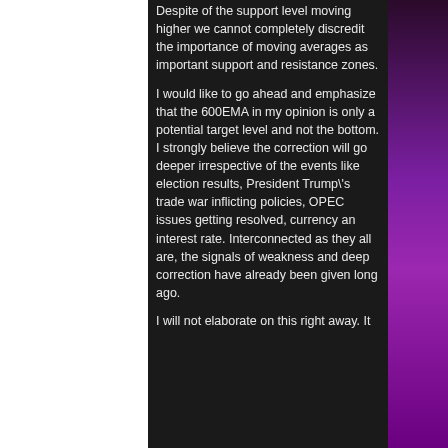Despite of the support level moving higher we cannot completely discredit the importance of moving averages as important support and resistance zones.
I would like to go ahead and emphasize that the 600EMA in my opinion is only a potential target level and not the bottom. I strongly believe the correction will go deeper irrespective of the events like election results, President Trump\'s trade war inflicting policies, OPEC issues getting resolved, currency an interest rate. Interconnected as they all are, the signals of weakness and deep correction have already been given long ago.
I will not elaborate on this right away. It